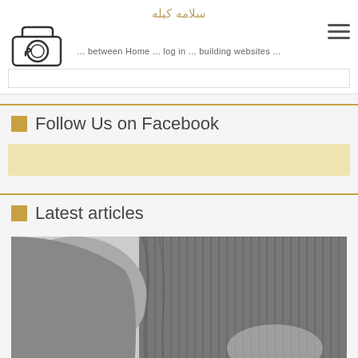سلامه كيله
[Figure (logo): Camera logo with Arabic text]
... between Home ... log in ... building websites ...
Follow Us on Facebook
Latest articles
[Figure (photo): Black and white photo showing a person's torso and arm, wearing a dark textured jacket]